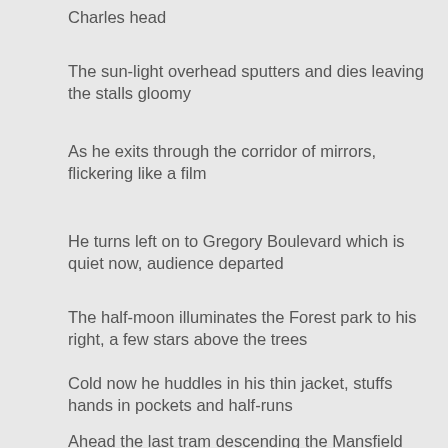Charles head
The sun-light overhead sputters and dies leaving the stalls gloomy
As he exits through the corridor of mirrors, flickering like a film
He turns left on to Gregory Boulevard which is quiet now, audience departed
The half-moon illuminates the Forest park to his right, a few stars above the trees
Cold now he huddles in his thin jacket, stuffs hands in pockets and half-runs
Ahead the last tram descending the Mansfield road